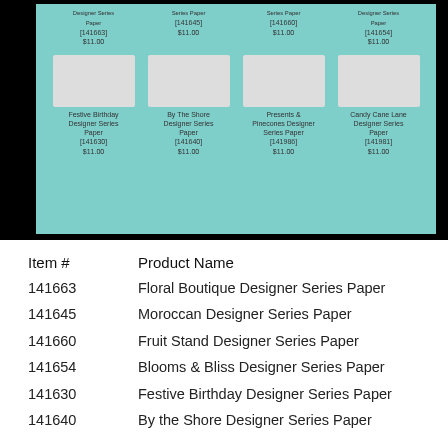[Figure (other): Product catalog page showing Designer Series Paper packs arranged in a grid on a teal background. Top partial row shows Floral Boutique, Moroccan, Fruit Stand, Blooms & Bliss Designer Series Papers with item numbers and $11.00 price. Second full row shows Festive Birthday, By The Shore, Presents & Pinecones, Candy Cane Lane Designer Series Papers with item numbers and $11.00 price.]
| Item # | Product Name |
| --- | --- |
| 141663 | Floral Boutique Designer Series Paper |
| 141645 | Moroccan Designer Series Paper |
| 141660 | Fruit Stand Designer Series Paper |
| 141654 | Blooms & Bliss Designer Series Paper |
| 141630 | Festive Birthday Designer Series Paper |
| 141640 | By the Shore Designer Series Paper |